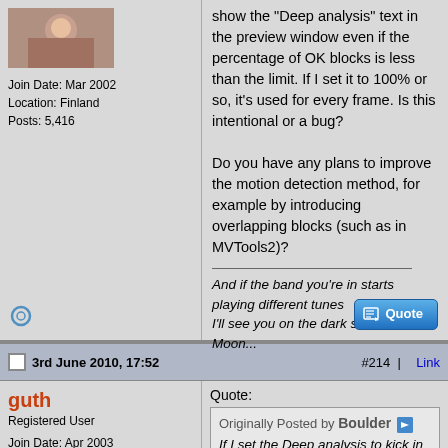show the "Deep analysis" text in the preview window even if the percentage of OK blocks is less than the limit. If I set it to 100% or so, it's used for every frame. Is this intentional or a bug?

Do you have any plans to improve the motion detection method, for example by introducing overlapping blocks (such as in MVTools2)?
And if the band you're in starts playing different tunes
I'll see you on the dark side of the Moon...
Join Date: Mar 2002
Location: Finland
Posts: 5,416
3rd June 2010, 17:52   #214 | Link
guth
Registered User
Join Date: Apr 2003
Location: Uppsala, Sweden
Posts: 157
Quote:
Originally Posted by Boulder
If I set the Deep analysis to kick in at for example <50%, it often doesn't show the "Deep analysis" text in the preview window even if the